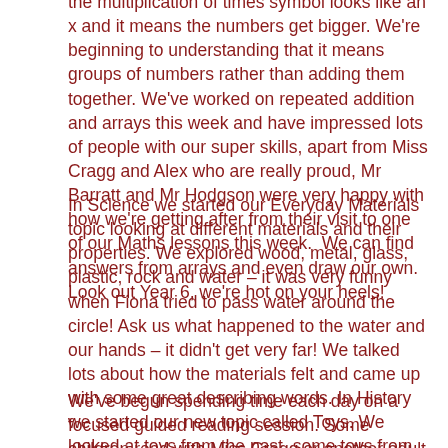the multiplication of times symbol looks like an x and it means the numbers get bigger. We're beginning to understanding that it means groups of numbers rather than adding them together. We've worked on repeated addition and arrays this week and have impressed lots of people with our super skills, apart from Miss Cragg and Alex who are really proud, Mr Barratt and Mr Hodgson were very happy with how we're getting after from their visit to one of our Maths lessons this week.  We can find answers from arrays and even draw our own.  Look out Year 6, we're hot on your heels!
In Science we started our Everyday Materials topic looking at different materials and their properties. We explored wood, metal, glass, plastic, rock and water – it was very funny when Fiona tried to pass water around the circle! Ask us what happened to the water and our hands – it didn't get very far! We talked lots about how the materials felt and came up with some great describing words. In History we started our new topic called Toys. We looked at toys from the past, some toys from 100 years ago are still around today! We know that children in the past played Twister and Monopoly like we do, and they played on bikes as well as with dolls and teddies.
We've begun spending time each day on a focused guided reading session. Some children read with Miss Cragg or another adult looking at a particular book together. They each